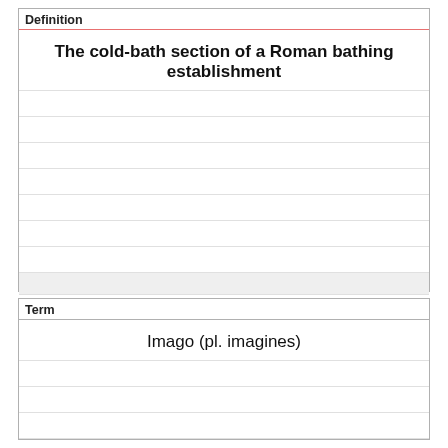| Definition |
| --- |
| The cold-bath section of a Roman bathing establishment |
| Term |
| --- |
| Imago (pl. imagines) |